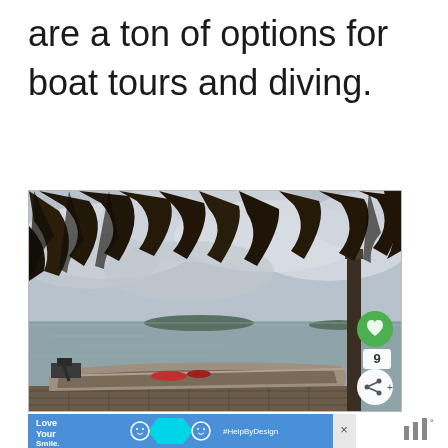are a ton of options for boat tours and diving.
[Figure (photo): A wooden motorboat docked at a weathered wooden pier on a calm lake or bay. Overcast cloudy sky above, thatched palm roof visible at the top of the frame. Islands visible in the far background. A dark wooden dock post stands to the right. Social media like and share buttons overlay the right side of the image.]
[Figure (other): Advertisement banner with blue background reading 'Love Your Smile.' with a cyan dental guard graphic and '#HelpByDesign' text. A close/X button appears at the right edge.]